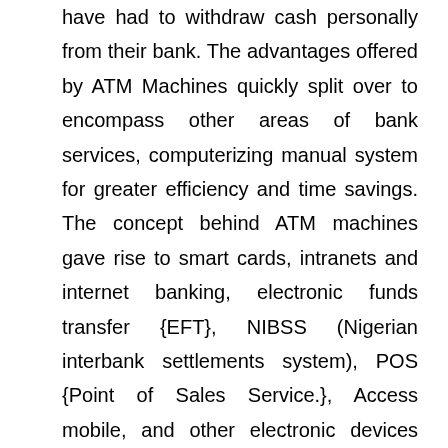have had to withdraw cash personally from their bank. The advantages offered by ATM Machines quickly split over to encompass other areas of bank services, computerizing manual system for greater efficiency and time savings. The concept behind ATM machines gave rise to smart cards, intranets and internet banking, electronic funds transfer {EFT}, NIBSS (Nigerian interbank settlements system), POS {Point of Sales Service.}, Access mobile, and other electronic devices (Ahasanul, 2010).
The growth in the application and acceptance of